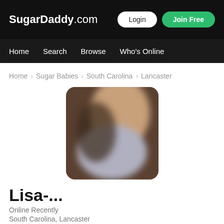SugarDaddy.com | Login | Join Free
Home  Search  Browse  Who's Online
Home > Sugar Babies > South Carolina > Lancaster
[Figure (photo): Blurred profile photo of a person]
Lisa-...
Online Recently
South Carolina, Lancaster